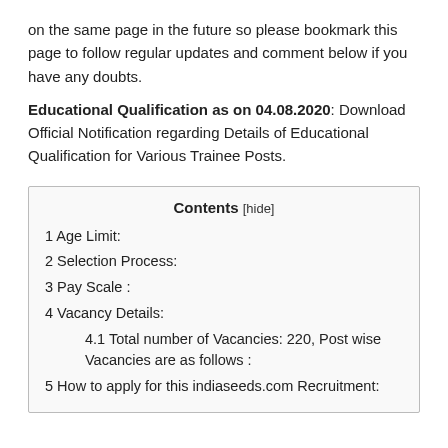on the same page in the future so please bookmark this page to follow regular updates and comment below if you have any doubts.
Educational Qualification as on 04.08.2020: Download Official Notification regarding Details of Educational Qualification for Various Trainee Posts.
Contents [hide]
1 Age Limit:
2 Selection Process:
3 Pay Scale :
4 Vacancy Details:
4.1 Total number of Vacancies: 220, Post wise Vacancies are as follows :
5 How to apply for this indiaseeds.com Recruitment: